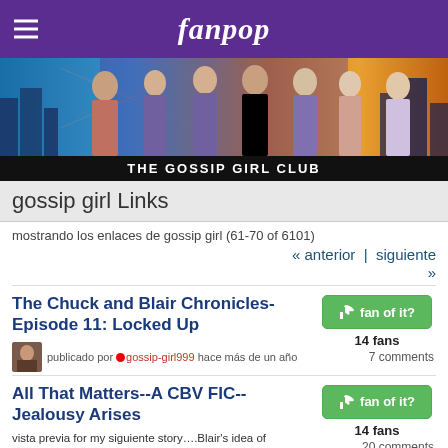fanpop
[Figure (photo): Gossip Girl cast banner photo with city skyline background]
THE GOSSIP GIRL CLUB
gossip girl Links
mostrando los enlaces de gossip girl (61-70 of 6101)
« anterior  |  siguiente »
The Chuck and Blair Chronicles-Episode 11: Locked Up
publicado por  gossip-girl999 hace más de un año
14 fans
7 comments
All That Matters--A CBV FIC--Jealousy Arises
vista previa for my siguiente story….Blair's idea of revenge with Vanessa goes horribly wrong when Chuck has appeared to have fallen for that dark eyed Brooklyn girl… (based off of spoilers for 2x07, 2x08)
14 fans
20 comments
publicado por  ChuckBlair_uvA